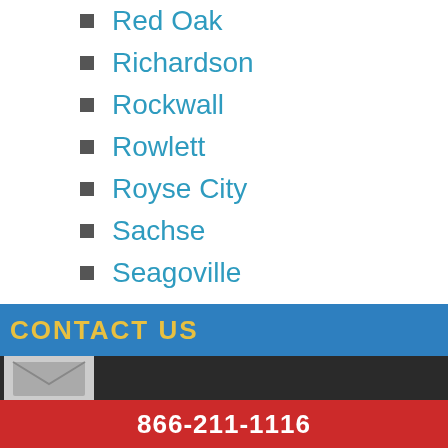Red Oak
Richardson
Rockwall
Rowlett
Royse City
Sachse
Seagoville
Sherman
Terrell
The Colony
Tyler
Waxahachie
Whitesboro
Wylie
CONTACT US  866-211-1116